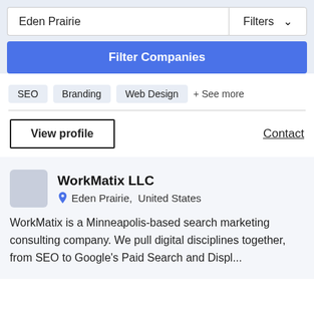Eden Prairie
Filters
Filter Companies
SEO
Branding
Web Design
+ See more
View profile
Contact
WorkMatix LLC
Eden Prairie,  United States
WorkMatix is a Minneapolis-based search marketing consulting company. We pull digital disciplines together, from SEO to Google's Paid Search and Displ...